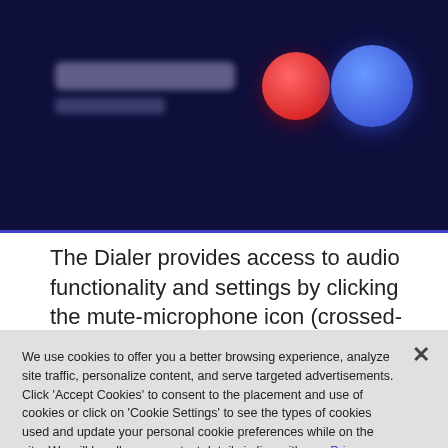[Figure (screenshot): A dark navy blue UI panel showing a blurred name and subtitle on the left, a red circle button and a blue circle button on the right, with a purple/blue bottom border.]
The Dialer provides access to audio functionality and settings by clicking the mute-microphone icon (crossed-
We use cookies to offer you a better browsing experience, analyze site traffic, personalize content, and serve targeted advertisements. Click 'Accept Cookies' to consent to the placement and use of cookies or click on 'Cookie Settings' to see the types of cookies used and update your personal cookie preferences while on the site. We will handle your contact details in line with our  Privacy Policy.
Cookies Settings
Accept All Cookies